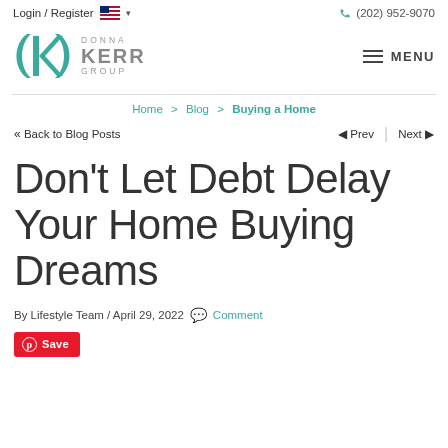Login / Register  (202) 952-9070
[Figure (logo): Donna Kerr Group logo with teal K icon]
Home > Blog > Buying a Home
<< Back to Blog Posts   Prev  Next
Don't Let Debt Delay Your Home Buying Dreams
By Lifestyle Team / April 29, 2022  Comment
Save